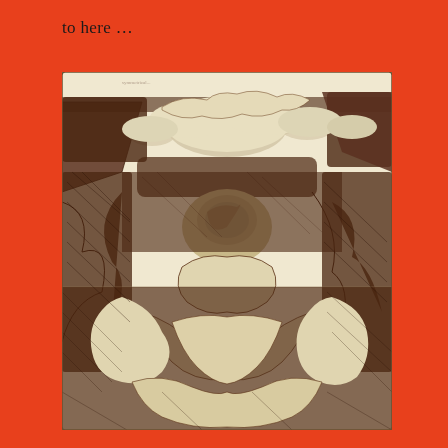to here …
[Figure (illustration): A dense pen-and-ink sketch drawing showing swirling, organic forms with dark cross-hatching. The composition features cloud-like shapes at the top and intricate interlocking curved shapes below, reminiscent of psychedelic or surrealist art. The drawing appears to be on aged cream/ivory paper and shows a horizontal fold line near the middle. The linework is in dark brown/sepia ink.]